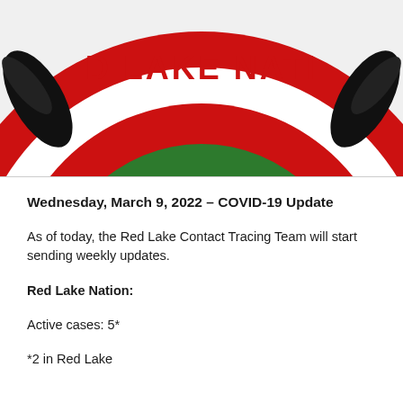[Figure (logo): Red Lake Nation circular logo with red border, white inner ring with 'RED LAKE NATION' text in red, green center with trees/landscape imagery. Only the bottom portion of the logo is visible, cropped at the top.]
Wednesday, March 9, 2022 – COVID-19 Update
As of today, the Red Lake Contact Tracing Team will start sending weekly updates.
Red Lake Nation:
Active cases: 5*
*2 in Red Lake